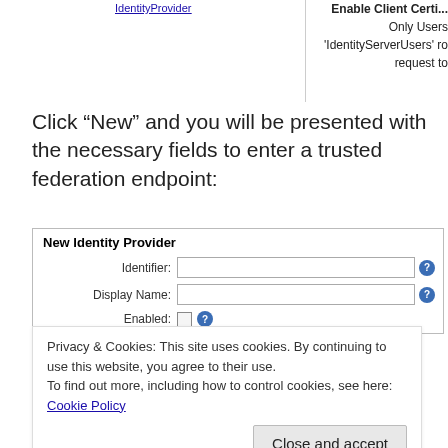[Figure (screenshot): Partial UI screenshot showing top right section with 'Enable Client Certif...' header, 'Only Users', ''IdentityServerUsers' ro', 'request to' text clipped at right edge; left side shows a hyperlink (underlined text).]
Click “New” and you will be presented with the necessary fields to enter a trusted federation endpoint:
[Figure (screenshot): New Identity Provider form with fields: Identifier (text input + help icon), Display Name (text input + help icon), Enabled (checkbox + help icon).]
Privacy & Cookies: This site uses cookies. By continuing to use this website, you agree to their use.
To find out more, including how to control cookies, see here: Cookie Policy
Close and accept